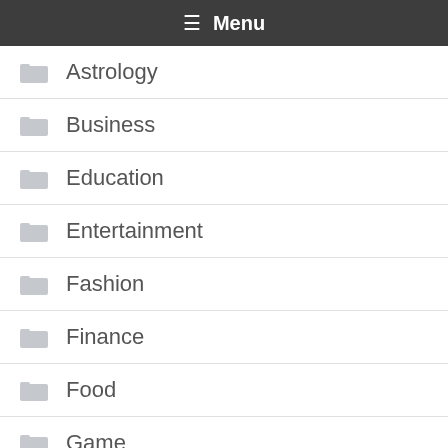Menu
Astrology
Business
Education
Entertainment
Fashion
Finance
Food
Game
General
Health